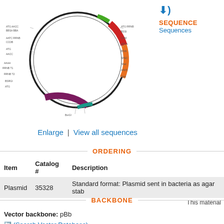[Figure (schematic): Circular plasmid map showing colored feature annotations around the ring, with labels for various genetic elements]
Enlarge  |  View all sequences
ORDERING
| Item | Catalog # | Description |
| --- | --- | --- |
| Plasmid | 35328 | Standard format: Plasmid sent in bacteria as agar stab |
This material
BACKBONE
Vector backbone:  pBb
(Search Vector Database)
Backbone size w/o insert (bp):  4245
Vector type:  Bacterial Expression, Synthetic Biology
Gene/Inser
Alt name:  J
Species:  S
Insert Size
Promotor: